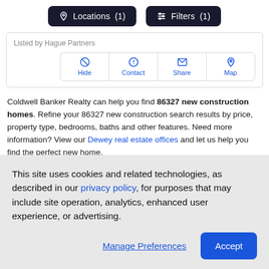Locations (1)  Filters (1)
Listed by Hague Partners
[Figure (screenshot): Action buttons row: Hide, Contact, Share, Map — each with an icon above the label, in blue, inside a rounded border]
Coldwell Banker Realty can help you find 86327 new construction homes. Refine your 86327 new construction search results by price, property type, bedrooms, baths and other features. Need more information? View our Dewey real estate offices and let us help you find the perfect new home.
CITIES NEAR DEWEY, AZ
This site uses cookies and related technologies, as described in our privacy policy, for purposes that may include site operation, analytics, enhanced user experience, or advertising.
Manage Preferences  Accept